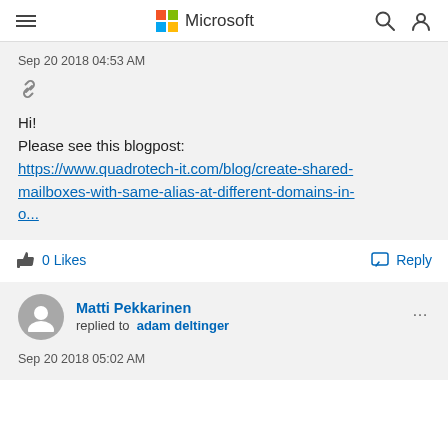Microsoft
Sep 20 2018 04:53 AM
Hi!
Please see this blogpost:
https://www.quadrotech-it.com/blog/create-shared-mailboxes-with-same-alias-at-different-domains-in-o...
0 Likes
Reply
Matti Pekkarinen replied to adam deltinger
Sep 20 2018 05:02 AM